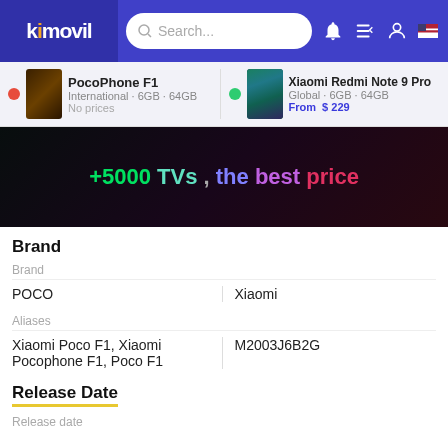kimovil — Search...
PocoPhone F1 · International · 6GB · 64GB · No prices
Xiaomi Redmi Note 9 Pro · Global · 6GB · 64GB · From $229
[Figure (screenshot): Promotional banner: +5000 TVs, the best price]
Brand
|  | PocoPhone F1 | Xiaomi Redmi Note 9 Pro |
| --- | --- | --- |
| Brand | POCO | Xiaomi |
| Aliases | Xiaomi Poco F1, Xiaomi Pocophone F1, Poco F1 | M2003J6B2G |
Release Date
Release date